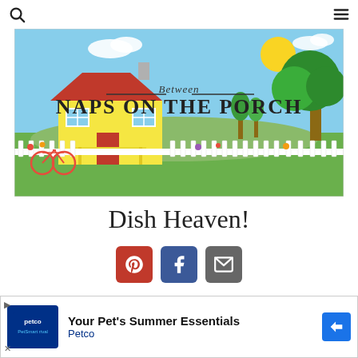Search and Menu icons
[Figure (illustration): Between Naps on the Porch blog banner illustration showing a yellow cottage house with a white picket fence, bicycle, flowers, green trees, blue sky with sun and clouds, and the text 'Between Naps on the Porch']
Dish Heaven!
[Figure (infographic): Three social sharing buttons: Pinterest (red), Facebook (blue), Email (gray)]
If you are a regular follower of BNOTP, you've seen some beautiful tablescapes I've posted recently that were created by Bonnie, a talented and creative reader of BNOTP. Bonnie and I have become fast friends as we've shared our love for tablescaping and all things, dishes.  Today we are going on a field trip!  Bonnie has generously agreed to let us see where s…
[Figure (infographic): Petco advertisement banner: 'Your Pet's Summer Essentials' with Petco logo and navigation arrow icon]